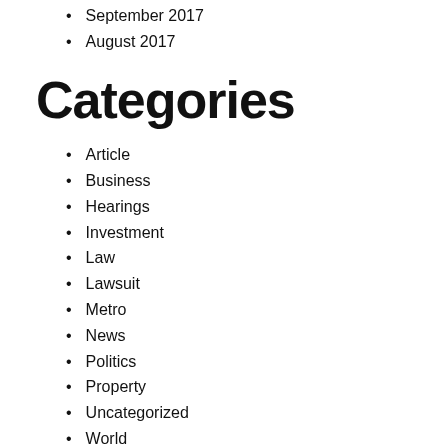September 2017
August 2017
Categories
Article
Business
Hearings
Investment
Law
Lawsuit
Metro
News
Politics
Property
Uncategorized
World